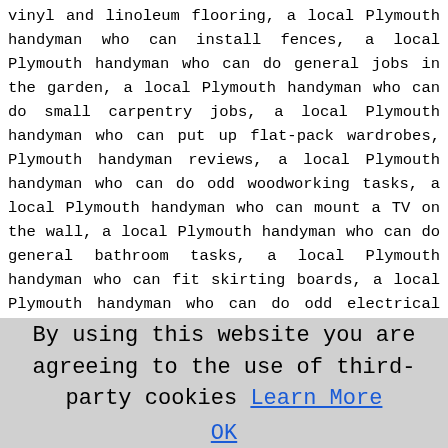vinyl and linoleum flooring, a local Plymouth handyman who can install fences, a local Plymouth handyman who can do general jobs in the garden, a local Plymouth handyman who can do small carpentry jobs, a local Plymouth handyman who can put up flat-pack wardrobes, Plymouth handyman reviews, a local Plymouth handyman who can do odd woodworking tasks, a local Plymouth handyman who can mount a TV on the wall, a local Plymouth handyman who can do general bathroom tasks, a local Plymouth handyman who can fit skirting boards, a local Plymouth handyman who can do odd electrical tasks, a local Plymouth handyman who can mend squeaky doors, a local Plymouth handyman who can do brick re-pointing, a local Plymouth handyman who can do small kitchen projects, a local Plymouth handyman who can box in pipework, a local Plymouth handyman who can do general clearance projects, a local Plymouth handyman who can change locks, a local Plymouth handyman who can do general bricklaying jobs, a local Plymouth handyman who can dismantle flat pack furniture, a local Plymouth handyman who can help with flat pack furniture, a local Plymouth handyman who can do the erection of shelving, a local Plymouth handyman who can do general painting and decorating tasks, a local Plymouth handyman who
By using this website you are agreeing to the use of third-party cookies Learn More OK